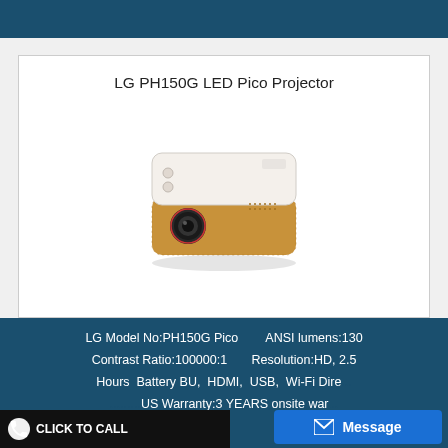LG PH150G LED Pico Projector
[Figure (photo): LG PH150G Pico Projector — compact square device with white top and gold/bronze bottom body, lens visible on front face]
LG Model No:PH150G Pico  ANSI lumens:130
Contrast Ratio:100000:1  Resolution:HD, 2.5
Hours Battery BU, HDMI, USB, Wi-Fi Dire...
CLICK TO CALL  US Warranty:3 YEARS onsite warranty for